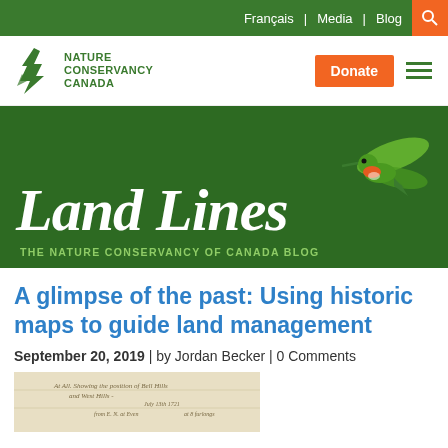Français | Media | Blog
[Figure (logo): Nature Conservancy Canada logo with maple leaf icon and Donate button and hamburger menu]
[Figure (illustration): Land Lines banner - dark green background with italic serif 'Land Lines' title in white, subtitle 'THE NATURE CONSERVANCY OF CANADA BLOG' in light green, and hummingbird illustration on right]
A glimpse of the past: Using historic maps to guide land management
September 20, 2019 | by Jordan Becker | 0 Comments
[Figure (photo): Partial view of a historic map or document with handwritten text, sepia-toned]